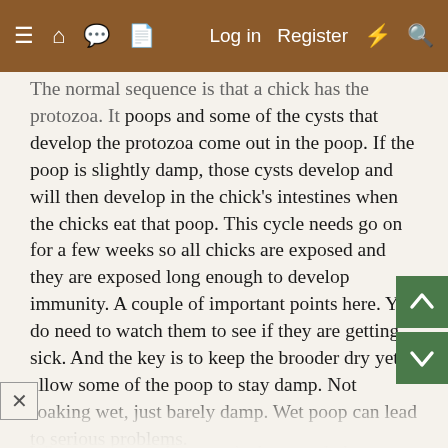≡  🏠  💬  🗎     Log in   Register   ⚡   🔍
The normal sequence is that a chick has the protozoa. It poops and some of the cysts that develop the protozoa come out in the poop. If the poop is slightly damp, those cysts develop and will then develop in the chick's intestines when the chicks eat that poop. This cycle needs go on for a few weeks so all chicks are exposed and they are exposed long enough to develop immunity. A couple of important points here. You do need to watch them to see if they are getting sick. And the key is to keep the brooder dry yet allow some of the poop to stay damp. Not soaking wet, just barely damp. Wet poop can lead to serious problems.
What sometimes happens is that people keep chicks in a brooder and feed them medicated feed while they are in the brooder. Those chicks are never exposed to the Cocci protozoa that lives in the dirt in their run, so they never develop the immunity to it. Then, they are switched to non-medicated feed and put on the ground where they are for the first time exposed to the protozoa. They do not have